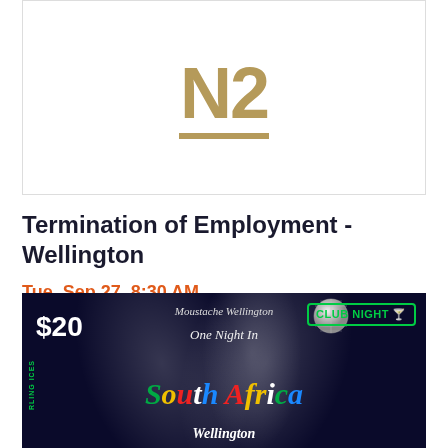[Figure (logo): NZ logo in gold/tan color with a horizontal bar below the letters, on white background with light border]
Termination of Employment - Wellington
Tue, Sep 27, 8:30 AM
Atura Wellington • Wellington, Wellington
$1,265 - $1,495
[Figure (illustration): Event banner for 'One Night In South Africa' at Moustache Wellington. Dark blue background with spotlight effects. Shows $20 price, Club Night badge, disco ball graphic, and colorful South Africa text in green, yellow, red, blue, and white. Wellington text at bottom. Sterling Services logo on left side.]